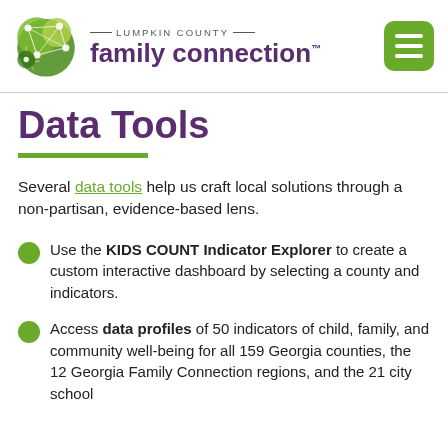[Figure (logo): Lumpkin County Family Connection logo with green circular network graphic and purple text]
Data Tools
Several data tools help us craft local solutions through a non-partisan, evidence-based lens.
Use the KIDS COUNT Indicator Explorer to create a custom interactive dashboard by selecting a county and indicators.
Access data profiles of 50 indicators of child, family, and community well-being for all 159 Georgia counties, the 12 Georgia Family Connection regions, and the 21 city school